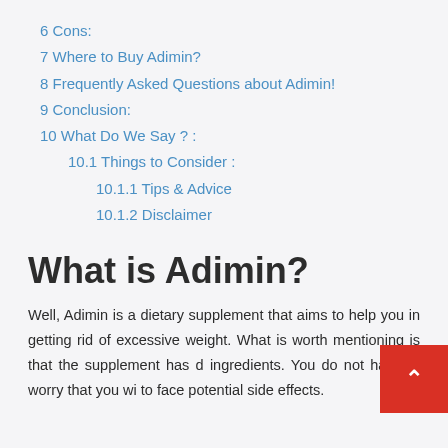6 Cons:
7 Where to Buy Adimin?
8 Frequently Asked Questions about Adimin!
9 Conclusion:
10 What Do We Say ? :
10.1 Things to Consider :
10.1.1 Tips & Advice
10.1.2 Disclaimer
What is Adimin?
Well, Adimin is a dietary supplement that aims to help you in getting rid of excessive weight. What is worth mentioning is that the supplement has d ingredients. You do not have to worry that you wi to face potential side effects.